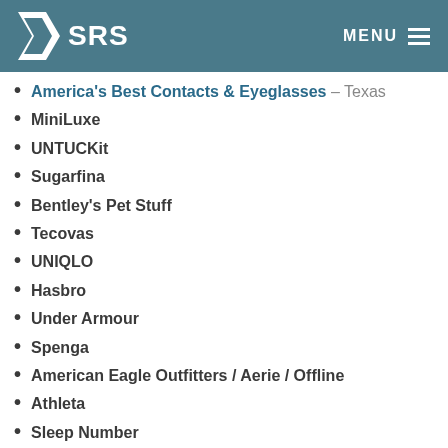SRS MENU
America's Best Contacts & Eyeglasses – Texas
MiniLuxe
UNTUCKit
Sugarfina
Bentley's Pet Stuff
Tecovas
UNIQLO
Hasbro
Under Armour
Spenga
American Eagle Outfitters / Aerie / Offline
Athleta
Sleep Number
US Bank
LANDLORD EXPERIENCE